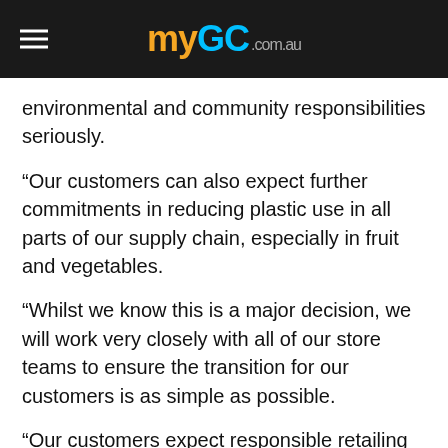myGC.com.au
environmental and community responsibilities seriously.
“Our customers can also expect further commitments in reducing plastic use in all parts of our supply chain, especially in fruit and vegetables.
“Whilst we know this is a major decision, we will work very closely with all of our store teams to ensure the transition for our customers is as simple as possible.
“Our customers expect responsible retailing and they can be assured that this is just the start of further commitments by Woolworths in this space.
“Our team continues to work hard to minimise our impact on the environment through the minimisation of food waste, ethical and sustainable sourcing, and reduction in energy